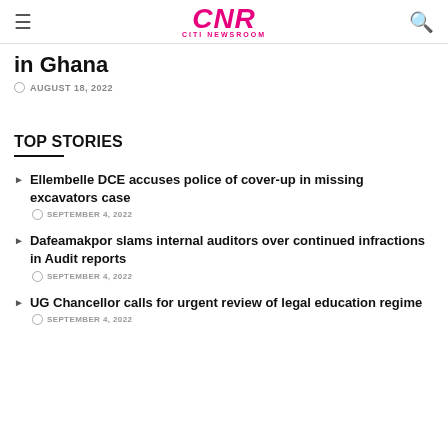CNR CITI NEWSROOM
in Ghana
AUGUST 18, 2022
TOP STORIES
Ellembelle DCE accuses police of cover-up in missing excavators case — SEPTEMBER 4, 2022
Dafeamakpor slams internal auditors over continued infractions in Audit reports — SEPTEMBER 4, 2022
UG Chancellor calls for urgent review of legal education regime — SEPTEMBER 4, 2022